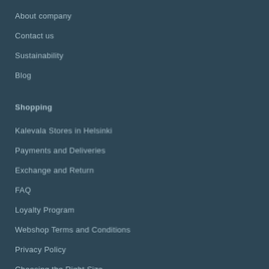About company
Contact us
Sustainability
Blog
Shopping
Kalevala Stores in Helsinki
Payments and Deliveries
Exchange and Return
FAQ
Loyalty Program
Webshop Terms and Conditions
Privacy Policy
Choosing the Right Size